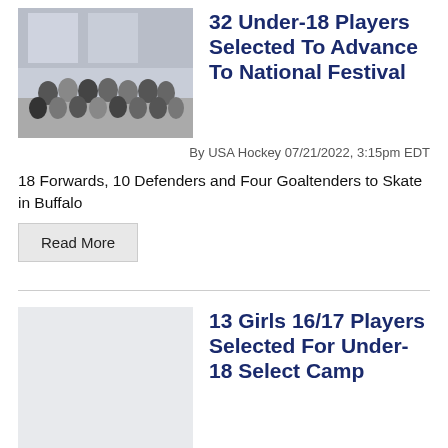[Figure (photo): Group photo of female hockey players indoors]
32 Under-18 Players Selected To Advance To National Festival
By USA Hockey 07/21/2022, 3:15pm EDT
18 Forwards, 10 Defenders and Four Goaltenders to Skate in Buffalo
Read More
[Figure (photo): Placeholder area for second article image]
13 Girls 16/17 Players Selected For Under-18 Select Camp
By USA Hockey 07/01/2022, 11:45am EDT
Seven forwards, three defenders and three